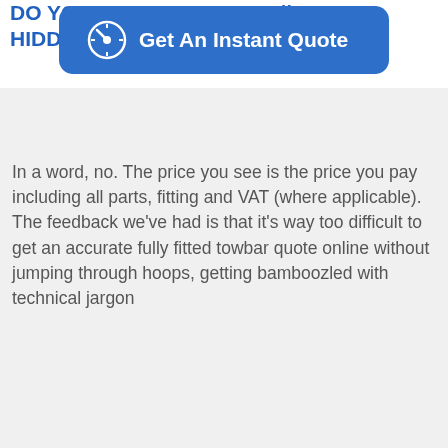DO YOU CHARGE ANY HIDDEN FEES?
[Figure (other): Blue rounded button with speedometer icon and text 'Get An Instant Quote']
In a word, no. The price you see is the price you pay including all parts, fitting and VAT (where applicable). The feedback we've had is that it's way too difficult to get an accurate fully fitted towbar quote online without jumping through hoops, getting bamboozled with technical jargon
We use cookies across our platform to make it a quicker, simpler, more enjoyable and rewarding experience for you.
I'm Happy, Let's Tow!
No thanks I'll take the limited experience
Manage my cookies